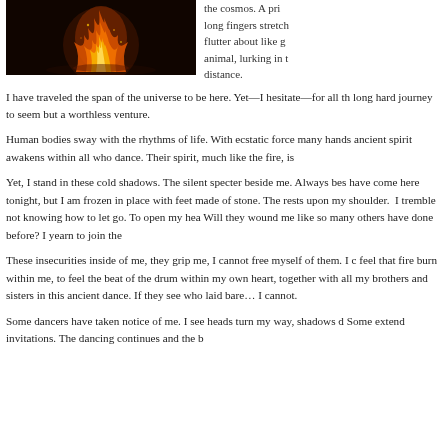[Figure (photo): A bonfire burning brightly against a dark background, flames orange and yellow reaching upward.]
the cosmos. A pri long fingers stretch flutter about like g animal, lurking in t distance.
I have traveled the span of the universe to be here. Yet—I hesitate—for all th long hard journey to seem but a worthless venture.
Human bodies sway with the rhythms of life. With ecstatic force many hands ancient spirit awakens within all who dance. Their spirit, much like the fire, is
Yet, I stand in these cold shadows. The silent specter beside me. Always bes have come here tonight, but I am frozen in place with feet made of stone. The rests upon my shoulder.  I tremble not knowing how to let go. To open my hea Will they wound me like so many others have done before? I yearn to join the
These insecurities inside of me, they grip me, I cannot free myself of them. I c feel that fire burn within me, to feel the beat of the drum within my own heart, together with all my brothers and sisters in this ancient dance. If they see who laid bare… I cannot.
Some dancers have taken notice of me. I see heads turn my way, shadows d Some extend invitations. The dancing continues and the b